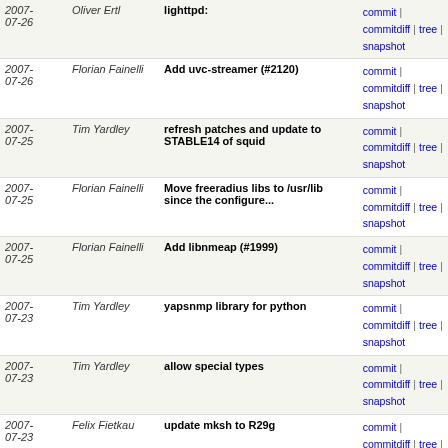| Date | Author | Message | Links |
| --- | --- | --- | --- |
| 2007-07-26 | Oliver Ertl | lighttpd: | commit | commitdiff | tree | snapshot |
| 2007-07-26 | Florian Fainelli | Add uvc-streamer (#2120) | commit | commitdiff | tree | snapshot |
| 2007-07-25 | Tim Yardley | refresh patches and update to STABLE14 of squid | commit | commitdiff | tree | snapshot |
| 2007-07-25 | Florian Fainelli | Move freeradius libs to /usr/lib since the configure... | commit | commitdiff | tree | snapshot |
| 2007-07-25 | Florian Fainelli | Add libnmeap (#1999) | commit | commitdiff | tree | snapshot |
| 2007-07-23 | Tim Yardley | yapsnmp library for python | commit | commitdiff | tree | snapshot |
| 2007-07-23 | Tim Yardley | allow special types | commit | commitdiff | tree | snapshot |
| 2007-07-23 | Felix Fietkau | update mksh to R29g | commit | commitdiff | tree | snapshot |
| 2007-07-20 | Tim Yardley | enable mib loading, required for a soon to be committed... | commit | commitdiff | tree | snapshot |
| 2007-07-20 | Oliver Ertl | updatedd: | commit | commitdiff | tree | snapshot |
| 2007-07-19 | Florian Fainelli | Click should be built with -Os, not -O2 | commit | commitdiff | tree | snapshot |
| 2007-07-18 | Tim Yardley | fix permission issue, /var/empty needs to have the... | commit | commitdiff | tree | snapshot |
| 2007-07-18 | Tim Yardley | add option to compile APC for php 5... | commit | commitdiff | tree | snapshot |